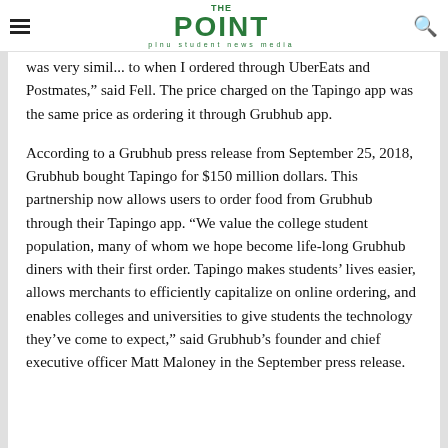THE POINT — plnu student news media
was very simil... to when I ordered through UberEats and Postmates," said Fell. The price charged on the Tapingo app was the same price as ordering it through Grubhub app.
According to a Grubhub press release from September 25, 2018, Grubhub bought Tapingo for $150 million dollars. This partnership now allows users to order food from Grubhub through their Tapingo app. “We value the college student population, many of whom we hope become life-long Grubhub diners with their first order. Tapingo makes students’ lives easier, allows merchants to efficiently capitalize on online ordering, and enables colleges and universities to give students the technology they’ve come to expect,” said Grubhub’s founder and chief executive officer Matt Maloney in the September press release.